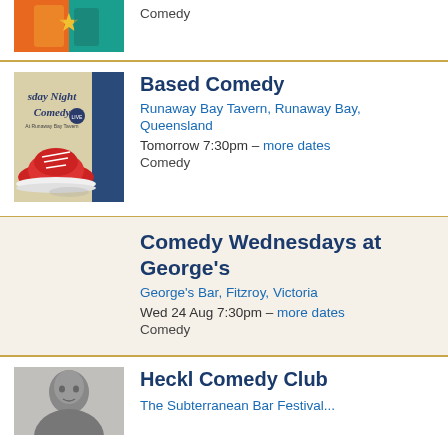[Figure (illustration): Colorful illustrated event poster with orange/teal graphic at top, partially visible]
Comedy
[Figure (illustration): Tuesday Night Comedy at Runaway Bay Tavern poster with red sneaker illustration]
Based Comedy
Runaway Bay Tavern, Runaway Bay, Queensland
Tomorrow 7:30pm – more dates
Comedy
Comedy Wednesdays at George's
George's Bar, Fitzroy, Victoria
Wed 24 Aug 7:30pm – more dates
Comedy
[Figure (photo): Black and white photo of a person, partially visible at bottom]
Heckl Comedy Club
The Subterranean Festival...